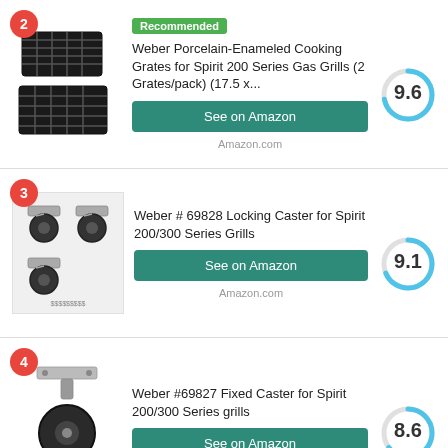[Figure (other): Product card 2: Weber Porcelain-Enameled Cooking Grates image with badge number 2, Recommended badge, product title, See on Amazon button, score 9.6 donut chart]
[Figure (other): Product card 3: Weber #69828 Locking Caster image with badge number 3, product title, See on Amazon button, score 9.1 donut chart]
[Figure (other): Product card 4: Weber #69827 Fixed Caster image with badge number 4, product title, See on Amazon button, score 8.6 donut chart]